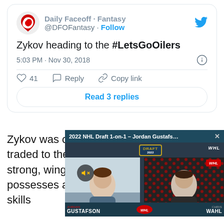[Figure (screenshot): Tweet from @DFOFantasy (Daily Faceoff Fantasy) saying 'Zykov heading to the #LetsGoOilers', posted at 5:03 PM · Nov 30, 2018, with 41 likes, Reply and Copy link actions, and a 'Read 3 replies' button.]
Zykov was originally drafted in the second round of... traded to the Carol... deal involving Kris... big, strong, winger... down low and in fr... possesses a good shot and high end stick skills
[Figure (screenshot): Video overlay popup: '2022 NHL Draft 1-on-1 – Jordan Gustafs...' showing two video feeds side by side. Left shows Jordan Gustafson, right shows Chris Wahl. WHL branding visible.]